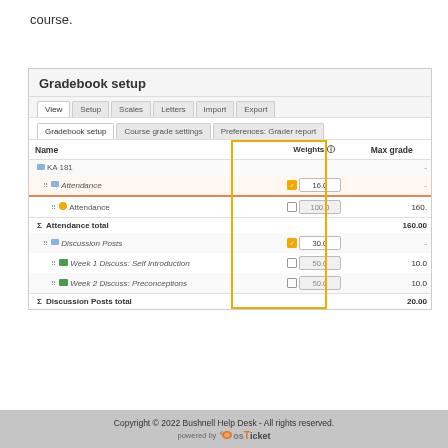course.
[Figure (screenshot): Screenshot of Moodle Gradebook setup interface showing the Weights column highlighted in a yellow/orange outline box. The table shows KA 181 course with Attendance category (weight 16.0, sub-item 100.0, max grade 160.00) and Discussion Posts category (weight 30.0) with Week 1 Discuss: Self Introduction (50.0, max 10.0) and Week 2 Discuss: Preconceptions (50.0, max 10.0), Discussion Posts total 20.00.]
Copyright © 2022 Bushnell Help Desk - All rights reserved. powered by osTicket